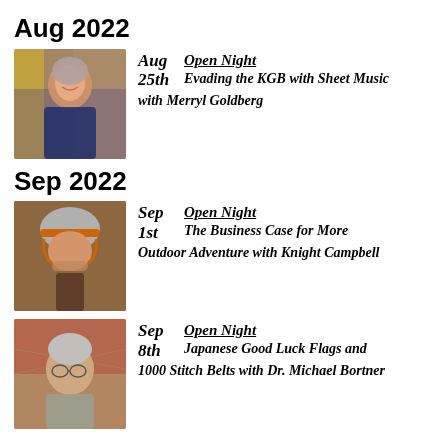Aug 2022
[Figure (photo): Portrait photo of Merryl Goldberg, a woman smiling in front of colorful artwork]
Aug 25th  Open Night  Evading the KGB with Sheet Music with Merryl Goldberg
Sep 2022
[Figure (photo): Portrait photo of Knight Campbell wearing an orange climbing helmet]
Sep 1st  Open Night  The Business Case for More Outdoor Adventure with Knight Campbell
[Figure (photo): Portrait photo of Dr. Michael Bortner, an older man with glasses in front of a map and red fabric]
Sep 8th  Open Night  Japanese Good Luck Flags and 1000 Stitch Belts with Dr. Michael Bortner